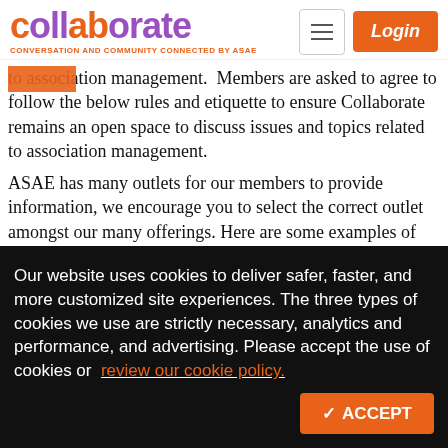[Figure (logo): Collaborate logo with tagline 'CONVERSATION AND COMMUNITY CONNECTED BY ASAE' and navigation buttons (hamburger menu, Login)]
to association management. Members are asked to agree to follow the below rules and etiquette to ensure Collaborate remains an open space to discuss issues and topics related to association management.
ASAE has many outlets for our members to provide information, we encourage you to select the correct outlet amongst our many offerings. Here are some examples of other locations ASAE provides:
Promotions or advertising options can be found
Our website uses cookies to deliver safer, faster, and more customized site experiences. The three types of cookies we use are strictly necessary, analytics and performance, and advertising. Please accept the use of cookies or review our cookie policy.